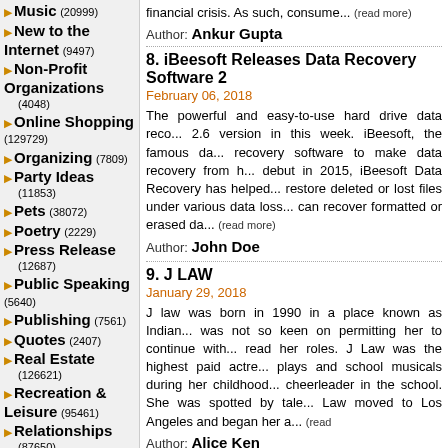Music (20999)
New to the Internet (9497)
Non-Profit Organizations (4048)
Online Shopping (129729)
Organizing (7809)
Party Ideas (11853)
Pets (38072)
Poetry (2229)
Press Release (12687)
Public Speaking (5640)
Publishing (7561)
Quotes (2407)
Real Estate (126621)
Recreation & Leisure (95461)
Relationships (87650)
Research (16180)
Sales (80346)
Science & Technology (110281)
financial crisis. As such, consume... (read more)
Author: Ankur Gupta
8. iBeesoft Releases Data Recovery Software 2
February 06, 2018
The powerful and easy-to-use hard drive data reco... 2.6 version in this week. iBeesoft, the famous da... recovery software to make data recovery from h... debut in 2015, iBeesoft Data Recovery has helped... restore deleted or lost files under various data loss... can recover formatted or erased da... (read more)
Author: John Doe
9. J LAW
January 29, 2018
J law was born in 1990 in a place known as Indian... was not so keen on permitting her to continue with... read her roles. J Law was the highest paid actre... plays and school musicals during her childhood... cheerleader in the school. She was spotted by tale... Law moved to Los Angeles and began her a... (read
Author: Alice Ken